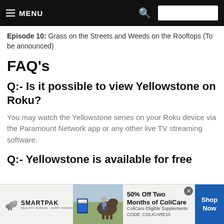☰ MENU  🔍
Episode 10: Grass on the Streets and Weeds on the Rooftops (To be announced)
FAQ's
Q:- Is it possible to view Yellowstone on Roku?
You may watch the Yellowstone series on your Roku device via the Paramount Network app or any other live TV streaming software.
Q:- Yellowstone is available for free
[Figure (other): SmartPak advertisement banner: SmartPak logo with horse icon, product image showing horse and woman, text '50% Off Two Months of ColiCare, ColiCare Eligible Supplements, CODE: COLICARE10', blue Shop Now button, close X button]